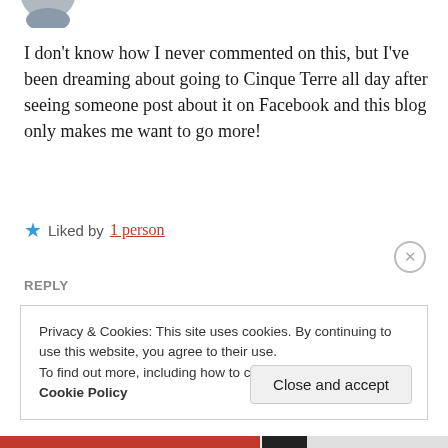[Figure (illustration): Partial avatar/profile image at top left, mostly cropped out of frame]
I don't know how I never commented on this, but I've been dreaming about going to Cinque Terre all day after seeing someone post about it on Facebook and this blog only makes me want to go more!
★ Liked by 1 person
REPLY
Privacy & Cookies: This site uses cookies. By continuing to use this website, you agree to their use.
To find out more, including how to control cookies, see here: Cookie Policy
Close and accept